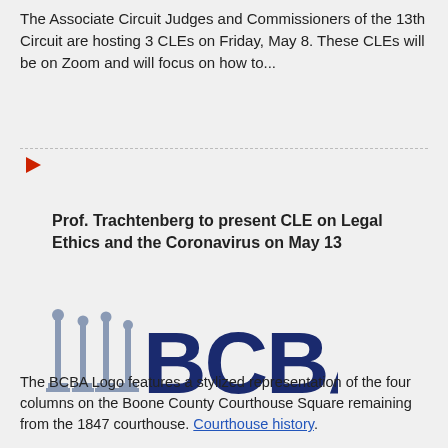The Associate Circuit Judges and Commissioners of the 13th Circuit are hosting 3 CLEs on Friday, May 8. These CLEs will be on Zoom and will focus on how to...
[Figure (other): Small red right-pointing arrow/play button icon]
Prof. Trachtenberg to present CLE on Legal Ethics and the Coronavirus on May 13
[Figure (logo): BCBA logo featuring stylized courthouse columns alongside bold dark blue text reading BCBA]
The BCBA Logo features a stylized representation of the four columns on the Boone County Courthouse Square remaining from the 1847 courthouse. Courthouse history.